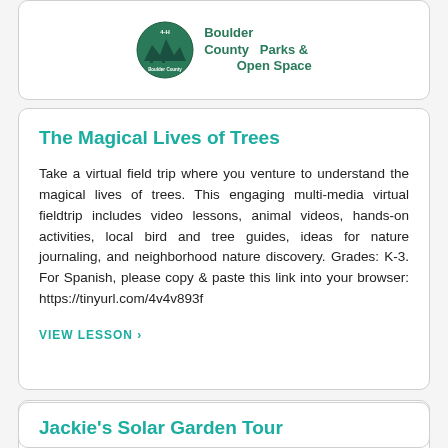[Figure (logo): Boulder County Parks & Open Space circular logo with text]
The Magical Lives of Trees
Take a virtual field trip where you venture to understand the magical lives of trees. This engaging multi-media virtual fieldtrip includes video lessons, animal videos, hands-on activities, local bird and tree guides, ideas for nature journaling, and neighborhood nature discovery. Grades: K-3. For Spanish, please copy & paste this link into your browser: https://tinyurl.com/4v4v893f
VIEW LESSON ›
[Figure (logo): City of Boulder circular seal/emblem]
Jackie's Solar Garden Tour